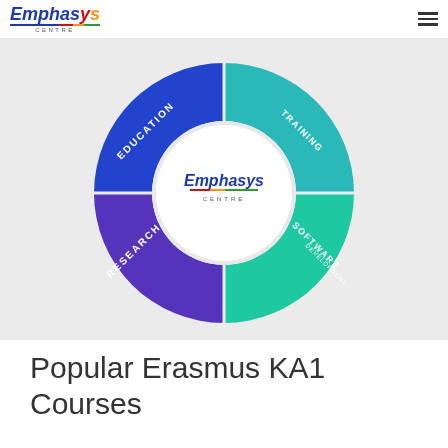[Figure (logo): Emphasys Centre logo with italic bold text in blue, red, orange, and green colors, with a multicolor underline and 'CENTRE' subtitle]
[Figure (infographic): Circular donut diagram divided into 4 segments: top-left blue 'EDUCATION', top-right teal '...TRAINING', bottom-right teal 'SOFTWARE DEVELOPMENT', bottom-left purple 'RESEARCH'. Center shows Emphasys Centre logo on white circle background.]
Popular Erasmus KA1 Courses